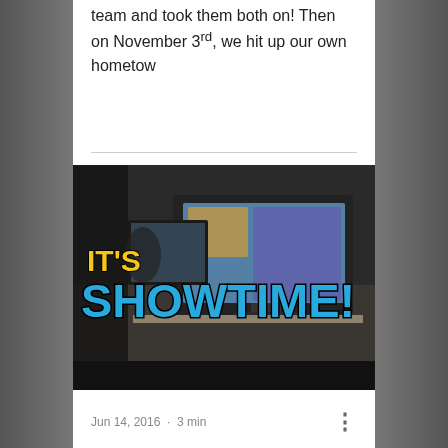team and took them both on! Then on November 3rd, we hit up our own hometow
[Figure (photo): Video thumbnail showing a gaming event setup with monitors displaying a colorful game. Large text overlay reads 'IT'S SHOWTIME!' in yellow and blue pixel-style font on a dark background.]
Jun 14, 2016 · 3 min